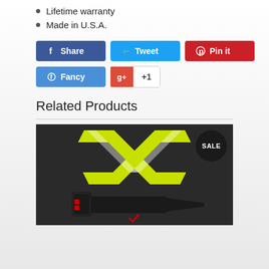Lifetime warranty
Made in U.S.A.
[Figure (screenshot): Social share buttons: Share (Facebook, blue), Tweet (Twitter, light blue), Pin it (Pinterest, red), Fancy (blue), Google+ +1 button]
Related Products
[Figure (photo): Product photo showing a tactical/gun accessory (elongated black device) on a dark background with a large yellow/neon X lightning bolt graphic and a SALE badge in the upper right corner]